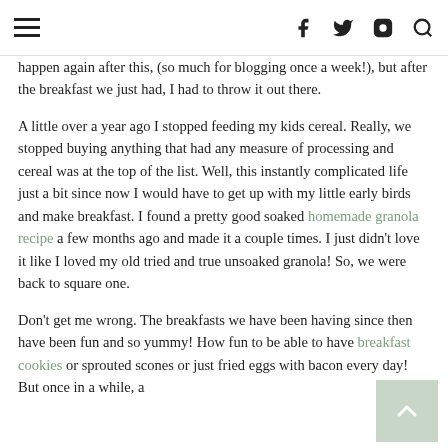≡   f  Twitter  Instagram  Search
happen again after this, (so much for blogging once a week!), but after the breakfast we just had, I had to throw it out there.
A little over a year ago I stopped feeding my kids cereal. Really, we stopped buying anything that had any measure of processing and cereal was at the top of the list. Well, this instantly complicated life just a bit since now I would have to get up with my little early birds and make breakfast. I found a pretty good soaked homemade granola recipe a few months ago and made it a couple times. I just didn't love it like I loved my old tried and true unsoaked granola! So, we were back to square one.
Don't get me wrong. The breakfasts we have been having since then have been fun and so yummy! How fun to be able to have breakfast cookies or sprouted scones or just fried eggs with bacon every day! But once in a while, a